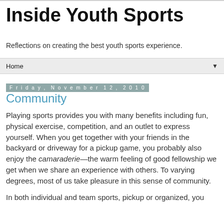Inside Youth Sports
Reflections on creating the best youth sports experience.
Home ▼
Friday, November 12, 2010
Community
Playing sports provides you with many benefits including fun, physical exercise, competition, and an outlet to express yourself. When you get together with your friends in the backyard or driveway for a pickup game, you probably also enjoy the camaraderie—the warm feeling of good fellowship we get when we share an experience with others. To varying degrees, most of us take pleasure in this sense of community.
In both individual and team sports, pickup or organized, you